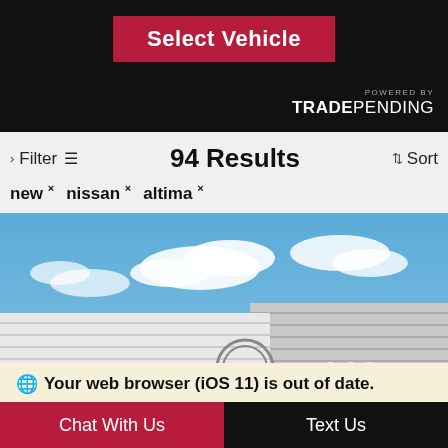Select Vehicle | POWERED BY TRADEPENDING
Filter   94 Results   Sort
new × nissan × altima ×
[Figure (photo): Nissan dealership exterior with a dark blue Nissan Altima sedan parked in front. The building shows the Nissan logo and red NISSAN signage. The number 112 is visible on the building facade.]
Your web browser (iOS 11) is out of date. Update your browser for more security, speed and the best experience on this site.
Chat With Us    Text Us